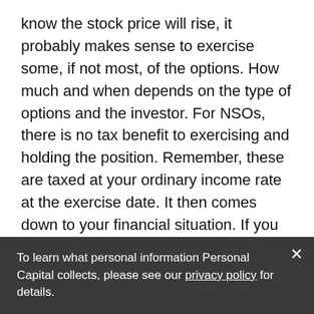know the stock price will rise, it probably makes sense to exercise some, if not most, of the options. How much and when depends on the type of options and the investor. For NSOs, there is no tax benefit to exercising and holding the position. Remember, these are taxed at your ordinary income rate at the exercise date. It then comes down to your financial situation. If you have a relatively modest net worth with few investment assets, exercising would likely result in a concentrated position – in this scenario you should diversify. Doing so would significantly reduce portfolio risk and allow you to pay the associated tax bill.
To learn what personal information Personal Capital collects, please see our privacy policy for details.